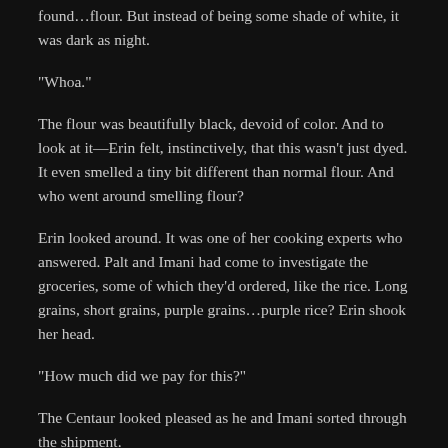found…flour. But instead of being some shade of white, it was dark as night.
“Whoa.”
The flour was beautifully black, devoid of color. And to look at it—Erin felt, instinctively, that this wasn't just dyed. It even smelled a tiny bit different than normal flour. And who went around smelling flour?
Erin looked around. It was one of her cooking experts who answered. Palt and Imani had come to investigate the groceries, some of which they'd ordered, like the rice. Long grains, short grains, purple grains…purple rice? Erin shook her head.
“How much did we pay for this?”
The Centaur looked pleased as he and Imani sorted through the shipment.